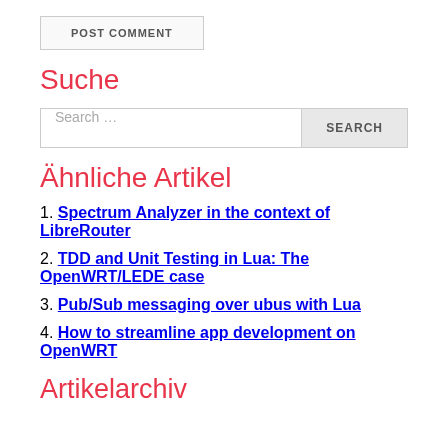POST COMMENT
Suche
Search ...
Ähnliche Artikel
1. Spectrum Analyzer in the context of LibreRouter
2. TDD and Unit Testing in Lua: The OpenWRT/LEDE case
3. Pub/Sub messaging over ubus with Lua
4. How to streamline app development on OpenWRT
Artikelarchiv